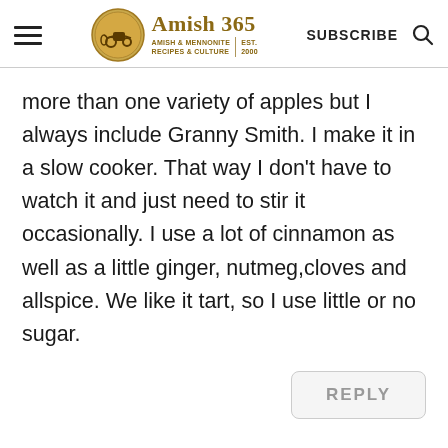Amish 365 — AMISH & MENNONITE RECIPES & CULTURE | EST. 2000
more than one variety of apples but I always include Granny Smith. I make it in a slow cooker. That way I don't have to watch it and just need to stir it occasionally. I use a lot of cinnamon as well as a little ginger, nutmeg,cloves and allspice. We like it tart, so I use little or no sugar.
REPLY